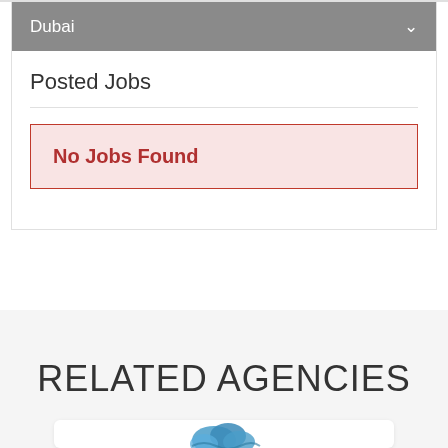Dubai
Posted Jobs
No Jobs Found
RELATED AGENCIES
[Figure (logo): Partial agency card with a blue cloud/water logo icon visible at the bottom of the page]